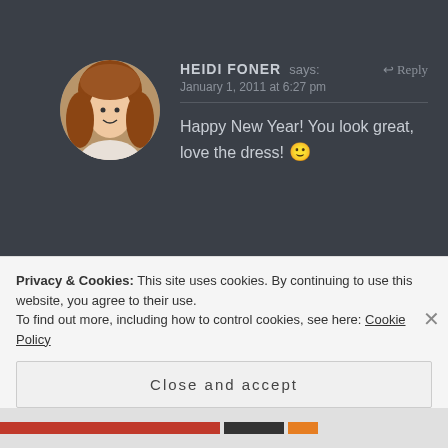[Figure (photo): Circular avatar photo of a woman with long reddish-brown hair wearing a light pink/white top]
HEIDI FONER says:
January 1, 2011 at 6:27 pm
Reply
Happy New Year! You look great, love the dress! 🙂
[Figure (photo): Circular avatar photo of a young woman with dark hair]
SWEET says:
Reply
Privacy & Cookies: This site uses cookies. By continuing to use this website, you agree to their use.
To find out more, including how to control cookies, see here: Cookie Policy
Close and accept